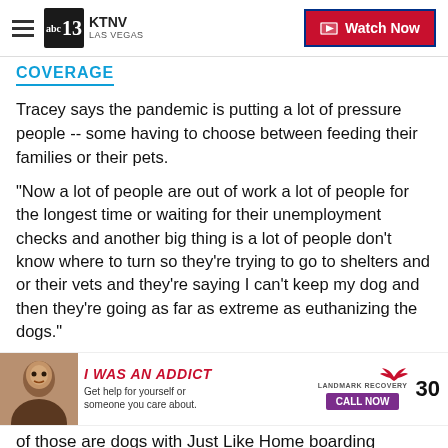KTNV LAS VEGAS | Watch Now
COVERAGE
Tracey says the pandemic is putting a lot of pressure people -- some having to choose between feeding their families or their pets.
"Now a lot of people are out of work a lot of people for the longest time or waiting for their unemployment checks and another big thing is a lot of people don't know where to turn so they're trying to go to shelters and or their vets and they're saying I can't keep my dog and then they're going as far as extreme as euthanizing the dogs."
[Figure (screenshot): Advertisement banner: woman photo, 'I WAS AN ADDICT' text, Landmark Recovery branding, CALL NOW button, number 30]
of those are dogs with Just Like Home boarding